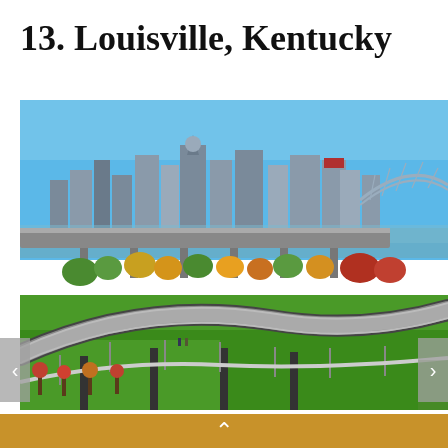13. Louisville, Kentucky
[Figure (photo): Aerial view of Louisville, Kentucky skyline with a pedestrian bridge curving through a green park in the foreground, highway overpass, autumn trees, and the Ohio River with a steel arch bridge in the background under a clear blue sky.]
If you're looking to minimize the amount of time you